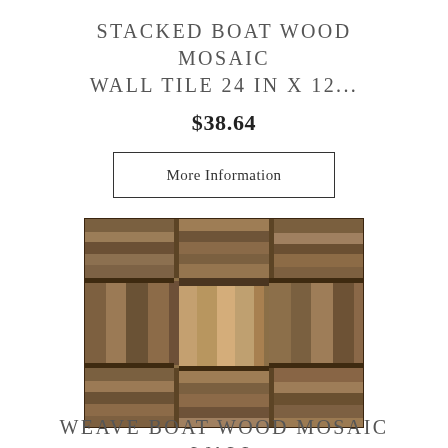STACKED BOAT WOOD MOSAIC WALL TILE 24 IN X 12...
$38.64
More Information
[Figure (photo): A square mosaic wall tile made from stacked reclaimed boat wood pieces in various brown tones, arranged in a basket-weave pattern.]
WEAVE BOAT WOOD MOSAIC WALL